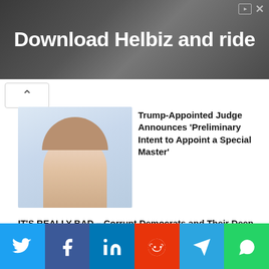[Figure (photo): Advertisement banner for Helbiz with text 'Download Helbiz and ride' over a dark background showing handlebars of an e-scooter]
[Figure (photo): Thumbnail photo of a woman with light reddish hair on a light blue background]
Trump-Appointed Judge Announces 'Preliminary Intent to Appoint a Special Master'
IT'S REALLY BAD – Corrupt Democrats and Their Deep State Bring Out Crazy Adam Schiff to Legitimize the FBI's Illegal Raid on Mar-a-Lago
Why Bitcoin's HODL theory may be long-gone; BTC investors should watch out for...
[Figure (infographic): Social share buttons row: Twitter (blue), Facebook (dark blue), LinkedIn (blue), Reddit (orange-red), Telegram (blue), WhatsApp (green)]